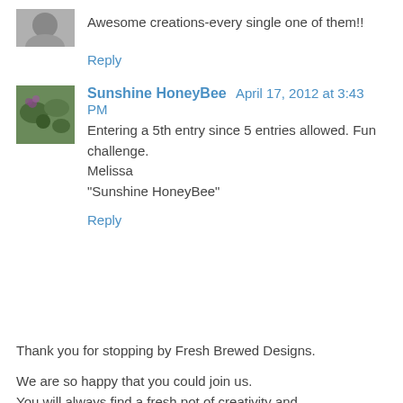Awesome creations-every single one of them!!
Reply
Sunshine HoneyBee  April 17, 2012 at 3:43 PM
Entering a 5th entry since 5 entries allowed. Fun challenge.
Melissa
"Sunshine HoneyBee"
Reply
Thank you for stopping by Fresh Brewed Designs.
We are so happy that you could join us.
You will always find a fresh pot of creativity and friendship brewing here.
We would love to always stay with...